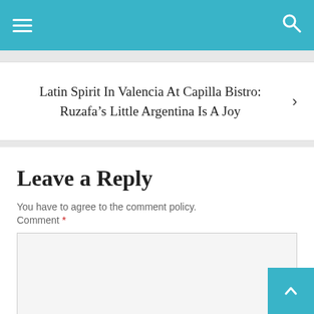Navigation menu with hamburger icon and search icon
Latin Spirit In Valencia At Capilla Bistro: Ruzafa’s Little Argentina Is A Joy
Leave a Reply
You have to agree to the comment policy.
Comment *